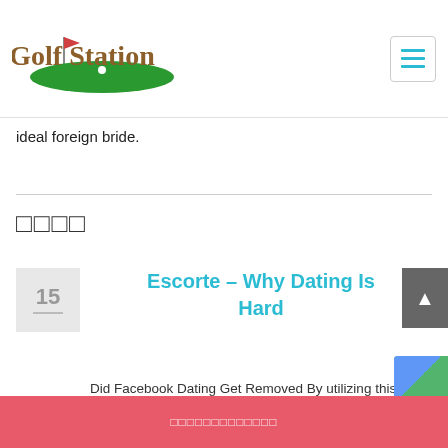Golf Station
ideal foreign bride.
□□□□
Escorte – Why Dating Is Hard
Did Facebook Dating Get Removed By utilizing this website, you agree to the Terms of Use and Privacy Policy. W [...]
□□□□□□□□□□□□□